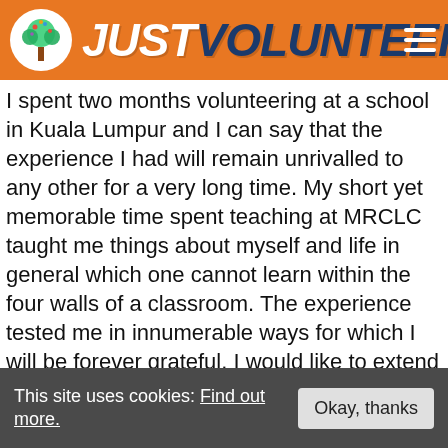JUST VOLUNTEERS!
I spent two months volunteering at a school in Kuala Lumpur and I can say that the experience I had will remain unrivalled to any other for a very long time. My short yet memorable time spent teaching at MRCLC taught me things about myself and life in general which one cannot learn within the four walls of a classroom. The experience tested me in innumerable ways for which I will be forever grateful. I would like to extend my sincere appreciation to Just Volunteers for accepting me to the program and allowing me to have this opportunity of a lifetime.
[Figure (photo): A classroom or indoor scene with a whiteboard/screen visible in the background, appearing to be taken at MRCLC school in Kuala Lumpur.]
This site uses cookies: Find out more.
Okay, thanks